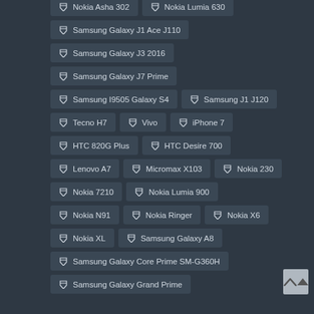Nokia Asha 302
Nokia Lumia 630
Samsung Galaxy J1 Ace J110
Samsung Galaxy J3 2016
Samsung Galaxy J7 Prime
Samsung I9505 Galaxy S4
Samsung J1 J120
Tecno H7
Vivo
iPhone 7
HTC 820G Plus
HTC Desire 700
Lenovo A7
Micromax X103
Nokia 230
Nokia 7210
Nokia Lumia 900
Nokia N91
Nokia Ringer
Nokia X6
Nokia XL
Samsung Galaxy A8
Samsung Galaxy Core Prime SM-G360H
Samsung Galaxy Grand Prime